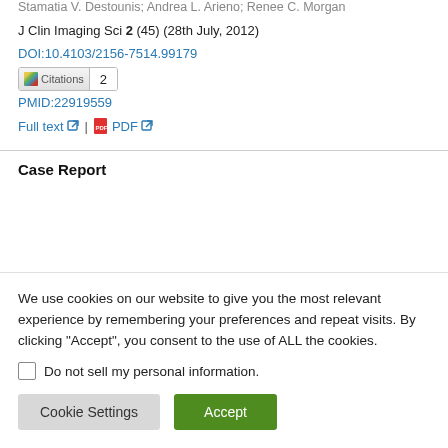Stamatia V. Destounis; Andrea L. Arieno; Renee C. Morgan
J Clin Imaging Sci 2 (45) (28th July, 2012)
DOI:10.4103/2156-7514.99179
Citations 2
PMID:22919559
Full text | PDF
Case Report
We use cookies on our website to give you the most relevant experience by remembering your preferences and repeat visits. By clicking "Accept", you consent to the use of ALL the cookies.
Do not sell my personal information.
Cookie Settings
Accept